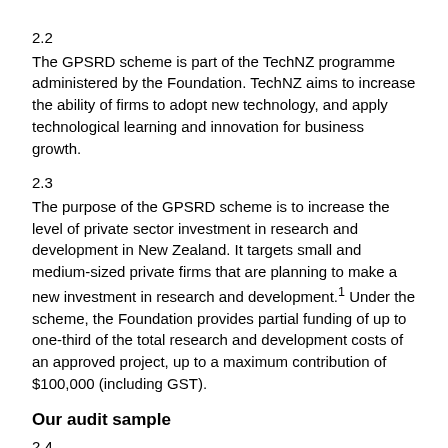2.2
The GPSRD scheme is part of the TechNZ programme administered by the Foundation. TechNZ aims to increase the ability of firms to adopt new technology, and apply technological learning and innovation for business growth.
2.3
The purpose of the GPSRD scheme is to increase the level of private sector investment in research and development in New Zealand. It targets small and medium-sized private firms that are planning to make a new investment in research and development.¹ Under the scheme, the Foundation provides partial funding of up to one-third of the total research and development costs of an approved project, up to a maximum contribution of $100,000 (including GST).
Our audit sample
2.4
Our GPSRD audit sample was chosen from applications